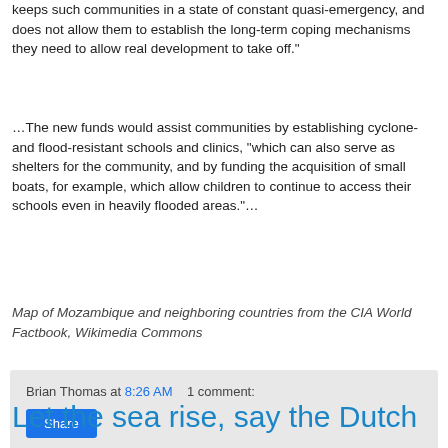keeps such communities in a state of constant quasi-emergency, and does not allow them to establish the long-term coping mechanisms they need to allow real development to take off."
…The new funds would assist communities by establishing cyclone- and flood-resistant schools and clinics, "which can also serve as shelters for the community, and by funding the acquisition of small boats, for example, which allow children to continue to access their schools even in heavily flooded areas."…
Map of Mozambique and neighboring countries from the CIA World Factbook, Wikimedia Commons
Brian Thomas at 8:26 AM    1 comment:
Share
Let the sea rise, say the Dutch